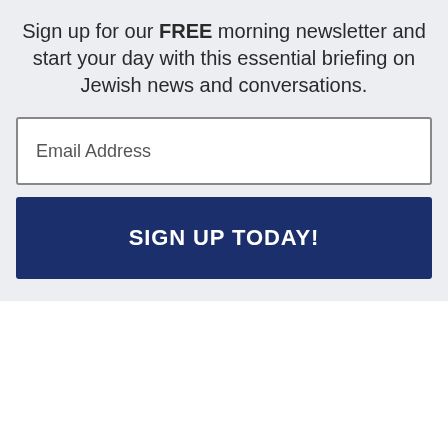Sign up for our FREE morning newsletter and start your day with this essential briefing on Jewish news and conversations.
[Figure (other): Email Address input field (text box)]
SIGN UP TODAY!